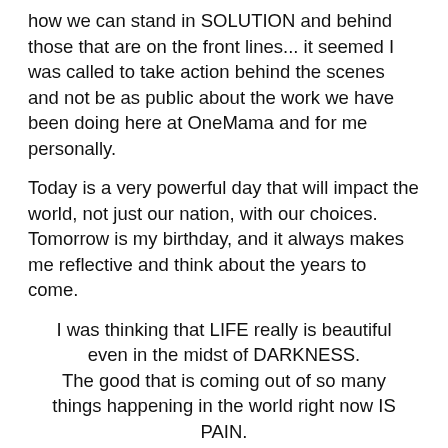how we can stand in SOLUTION and behind those that are on the front lines... it seemed I was called to take action behind the scenes and not be as public about the work we have been doing here at OneMama and for me personally.
Today is a very powerful day that will impact the world, not just our nation, with our choices. Tomorrow is my birthday, and it always makes me reflective and think about the years to come.
I was thinking that LIFE really is beautiful even in the midst of DARKNESS.
The good that is coming out of so many things happening in the world right now IS PAIN.
It makes humans FEEL again – to take ACTION and